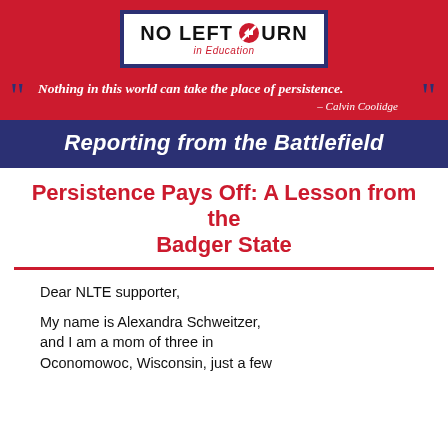[Figure (logo): No Left Turn in Education logo — white box with dark blue border, bold text 'NO LEFT TURN' with a red circle-slash arrow icon replacing the 'O', italic red text 'in Education' below]
Nothing in this world can take the place of persistence. – Calvin Coolidge
Reporting from the Battlefield
Persistence Pays Off: A Lesson from the Badger State
Dear NLTE supporter,
My name is Alexandra Schweitzer, and I am a mom of three in Oconomowoc, Wisconsin, just a few